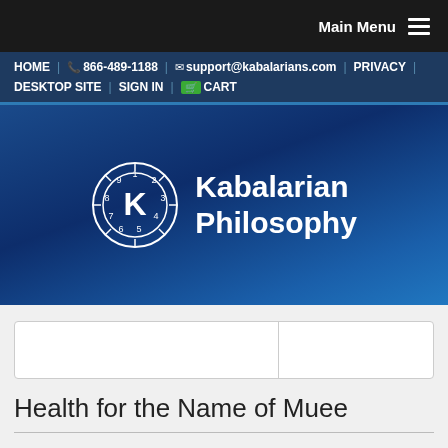Main Menu
HOME | 866-489-1188 | support@kabalarians.com | PRIVACY | DESKTOP SITE | SIGN IN | CART
[Figure (logo): Kabalarian Philosophy logo: circular clock-like emblem with K in center and numbers 1-9, white on dark blue background, with text 'Kabalarian Philosophy' to the right]
Health for the Name of Muee